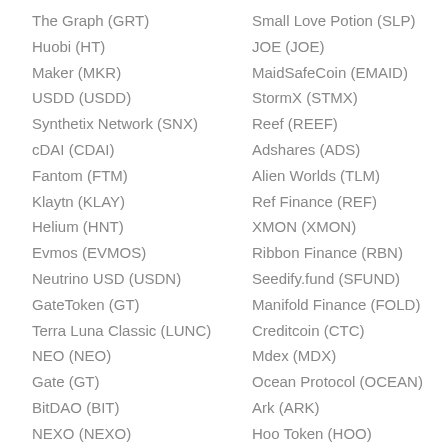The Graph (GRT)
Huobi (HT)
Maker (MKR)
USDD (USDD)
Synthetix Network (SNX)
cDAI (CDAI)
Fantom (FTM)
Klaytn (KLAY)
Helium (HNT)
Evmos (EVMOS)
Neutrino USD (USDN)
GateToken (GT)
Terra Luna Classic (LUNC)
NEO (NEO)
Gate (GT)
BitDAO (BIT)
NEXO (NEXO)
THORChain (RUNE)
Radix (XRD)
Small Love Potion (SLP)
JOE (JOE)
MaidSafeCoin (EMAID)
StormX (STMX)
Reef (REEF)
Adshares (ADS)
Alien Worlds (TLM)
Ref Finance (REF)
XMON (XMON)
Ribbon Finance (RBN)
Seedify.fund (SFUND)
Manifold Finance (FOLD)
Creditcoin (CTC)
Mdex (MDX)
Ocean Protocol (OCEAN)
Ark (ARK)
Hoo Token (HOO)
xSUSHI (XSUSHI)
Dock (DOCK)